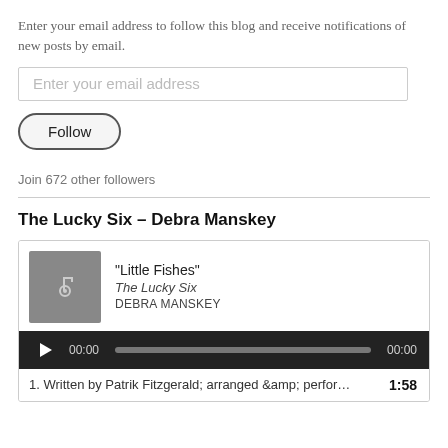Enter your email address to follow this blog and receive notifications of new posts by email.
[Figure (screenshot): Email input field with placeholder text 'Enter your email address']
[Figure (screenshot): Follow button with rounded border]
Join 672 other followers
The Lucky Six – Debra Manskey
[Figure (screenshot): Audio player widget showing track 'Little Fishes' from The Lucky Six by Debra Manskey, with play button and progress bar showing 00:00 / 00:00]
1. Written by Patrik Fitzgerald; arranged &amp; perfor…  1:58